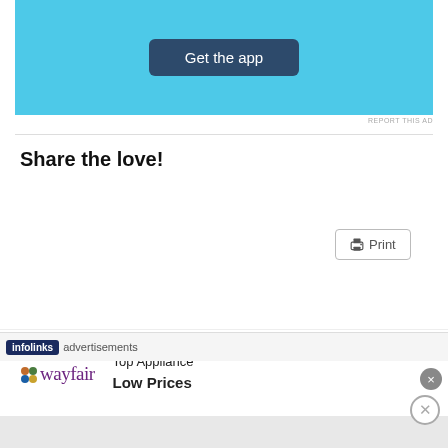[Figure (screenshot): App download advertisement banner with 'Get the app' button on a light blue background with decorative plus signs]
REPORT THIS AD
Share the love!
[Figure (screenshot): Social sharing buttons: Tweet, Share (LinkedIn), Share 0 (Facebook), Post (Tumblr), Print, Email, Pocket (0), Save (Pinterest), Telegram, WhatsApp, Share (Skype)]
[Figure (screenshot): Infolinks advertisements bar with close button]
[Figure (screenshot): Wayfair advertisement: Top Appliance Low Prices]